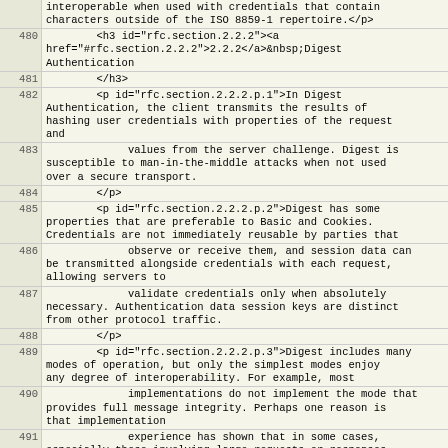| line | code |
| --- | --- |
|  | interoperable when used with credentials that contain characters outside of the ISO 8859-1 repertoire.</p> |
| 480 |         <h3 id="rfc.section.2.2.2"><a href="#rfc.section.2.2.2">2.2.2</a>&nbsp;Digest Authentication |
| 481 |         </h3> |
| 482 |         <p id="rfc.section.2.2.2.p.1">In Digest Authentication, the client transmits the results of hashing user credentials with properties of the request and |
| 483 |              values from the server challenge. Digest is susceptible to man-in-the-middle attacks when not used over a secure transport. |
| 484 |         </p> |
| 485 |         <p id="rfc.section.2.2.2.p.2">Digest has some properties that are preferable to Basic and Cookies. Credentials are not immediately reusable by parties that |
| 486 |              observe or receive them, and session data can be transmitted alongside credentials with each request, allowing servers to |
| 487 |              validate credentials only when absolutely necessary. Authentication data session keys are distinct from other protocol traffic. |
| 488 |         </p> |
| 489 |         <p id="rfc.section.2.2.2.p.3">Digest includes many modes of operation, but only the simplest modes enjoy any degree of interoperability. For example, most |
| 490 |              implementations do not implement the mode that provides full message integrity. Perhaps one reason is that implementation |
| 491 |              experience has shown that in some cases, especially those involving large requests or responses such as streams, the message |
| 492 |              integrity mode is impractical because it requires servers to analyze the full request before determining whether the client ... |